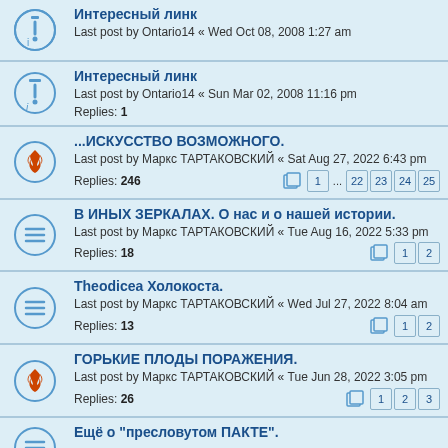Интересный линк
Last post by Ontario14 « Wed Oct 08, 2008 1:27 am
Интересный линк
Last post by Ontario14 « Sun Mar 02, 2008 11:16 pm
Replies: 1
...ИСКУССТВО ВОЗМОЖНОГО.
Last post by Маркс ТАРТАКОВСКИЙ « Sat Aug 27, 2022 6:43 pm
Replies: 246
В ИНЫХ ЗЕРКАЛАХ. О нас и о нашей истории.
Last post by Маркс ТАРТАКОВСКИЙ « Tue Aug 16, 2022 5:33 pm
Replies: 18
Theodicea Холокоста.
Last post by Маркс ТАРТАКОВСКИЙ « Wed Jul 27, 2022 8:04 am
Replies: 13
ГОРЬКИЕ ПЛОДЫ ПОРАЖЕНИЯ.
Last post by Маркс ТАРТАКОВСКИЙ « Tue Jun 28, 2022 3:05 pm
Replies: 26
Ещё о "пресловутом ПАКТЕ".